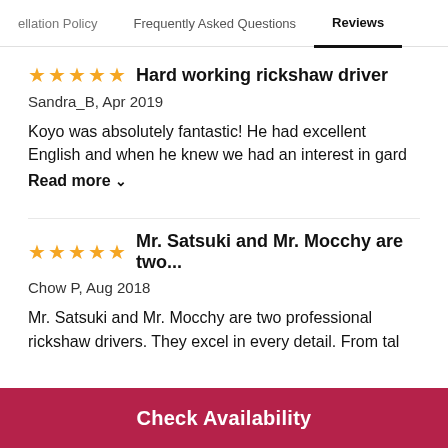ellation Policy   Frequently Asked Questions   Reviews
Hard working rickshaw driver
Sandra_B, Apr 2019
Koyo was absolutely fantastic! He had excellent English and when he knew we had an interest in gard
Read more
Mr. Satsuki and Mr. Mocchy are two...
Chow P, Aug 2018
Mr. Satsuki and Mr. Mocchy are two professional rickshaw drivers. They excel in every detail. From tal
Check Availability